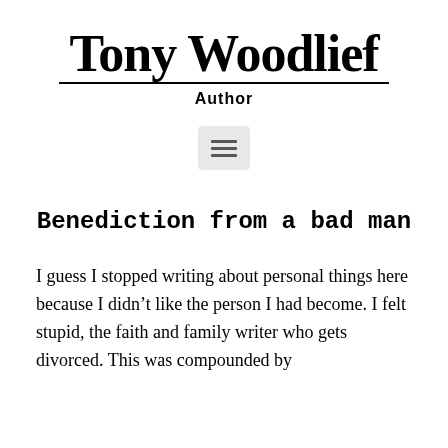Tony Woodlief
Author
Benediction from a bad man
I guess I stopped writing about personal things here because I didn’t like the person I had become. I felt stupid, the faith and family writer who gets divorced. This was compounded by